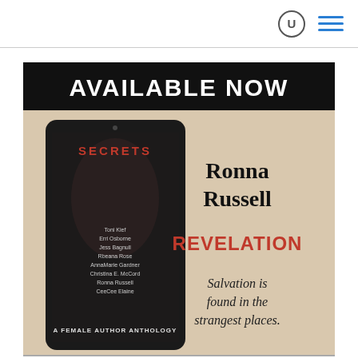[Figure (illustration): Book promotional image with black background header reading 'AVAILABLE NOW', showing a tablet displaying the cover of 'SECRETS: A Female Author Anthology' alongside text 'Ronna Russell REVELATION - Salvation is found in the strangest places.' The anthology cover shows a woman's face with contributors listed: Toni Kief, Erri Osborne, Jess Bagnull, Rbeana Rose, AnnaMarie Gardner, Christina E. McCord, Ronna Russell, CeeCee Elaine.]